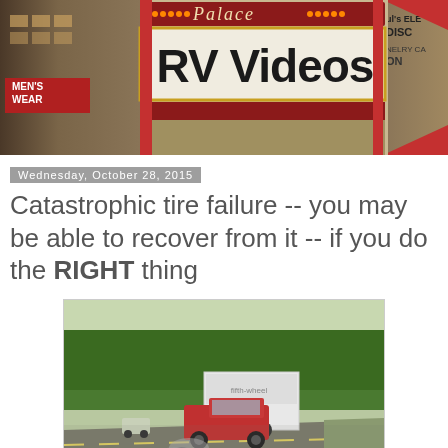[Figure (photo): Palace theater marquee banner showing 'RV Videos' in large black letters on a light marquee background, with ornate theater architecture]
Wednesday, October 28, 2015
Catastrophic tire failure -- you may be able to recover from it -- if you do the RIGHT thing
[Figure (photo): Dashcam footage showing a red pickup truck towing a fifth-wheel RV trailer on a highway, appearing to have a tire blowout with debris visible, trees in the background]